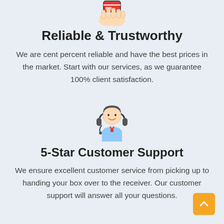[Figure (illustration): Icon of a hand holding a card or parcel, shown partially at top of page]
Reliable & Trustworthy
We are cent percent reliable and have the best prices in the market. Start with our services, as we guarantee 100% client satisfaction.
[Figure (illustration): Icon of a customer support agent wearing a headset, with a friendly face and blue shirt]
5-Star Customer Support
We ensure excellent customer service from picking up to handing your box over to the receiver. Our customer support will answer all your questions.